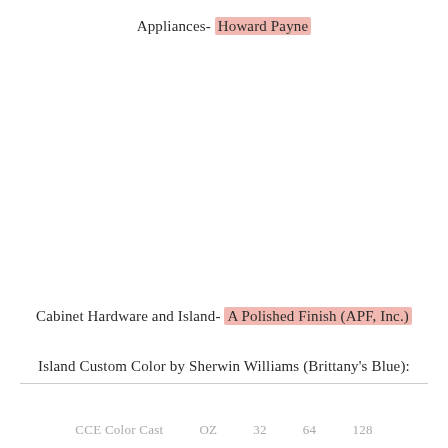Appliances- Howard Payne
Cabinet Hardware and Island- A Polished Finish (APF, Inc.)
Island Custom Color by Sherwin Williams (Brittany's Blue):
| CCE Color Cast | OZ | 32 | 64 | 128 |
| --- | --- | --- | --- | --- |